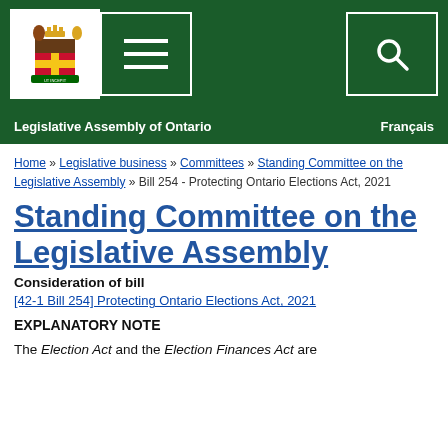Legislative Assembly of Ontario | Français
Home » Legislative business » Committees » Standing Committee on the Legislative Assembly » Bill 254 - Protecting Ontario Elections Act, 2021
Standing Committee on the Legislative Assembly
Consideration of bill
[42-1 Bill 254] Protecting Ontario Elections Act, 2021
EXPLANATORY NOTE
The Election Act and the Election Finances Act are